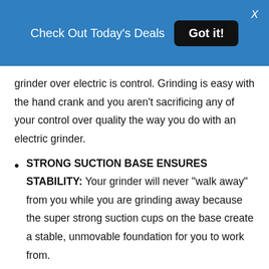Check Out Today's Deals  Got it!  X
grinder over electric is control. Grinding is easy with the hand crank and you aren't sacrificing any of your control over quality the way you do with an electric grinder.
STRONG SUCTION BASE ENSURES STABILITY: Your grinder will never “walk away” from you while you are grinding away because the super strong suction cups on the base create a stable, unmovable foundation for you to work from.
EASY TO USE AND SIMPLE TO CLEAN: The operation is simple and will take you less than two minutes to master. The grinder comes apart easily so all of the parts can be throughly cleaned